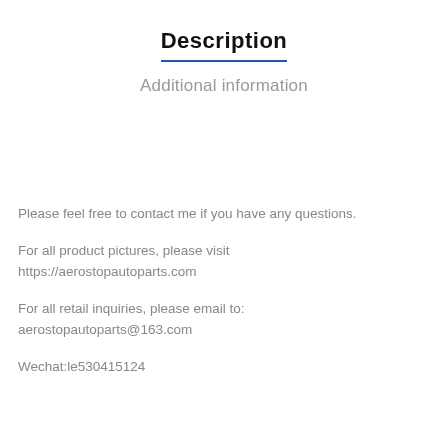Description
Additional information
Please feel free to contact me if you have any questions.
For all product pictures, please visit
https://aerostopautoparts.com
For all retail inquiries, please email to:
aerostopautoparts@163.com
Wechat:le530415124